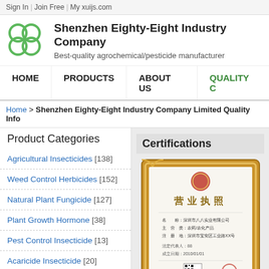Sign In | Join Free | My xuijs.com
Shenzhen Eighty-Eight Industry Company
Best-quality agrochemical/pesticide manufacturer
HOME | PRODUCTS | ABOUT US | QUALITY C
Home > Shenzhen Eighty-Eight Industry Company Limited Quality Info
Product Categories
Agricultural Insecticides  [138]
Weed Control Herbicides  [152]
Natural Plant Fungicide  [127]
Plant Growth Hormone  [38]
Pest Control Insecticide  [13]
Acaricide Insecticide  [20]
Certifications
[Figure (photo): Chinese business license certificate in a golden ornate frame, showing text '营业执照' (Business License)]